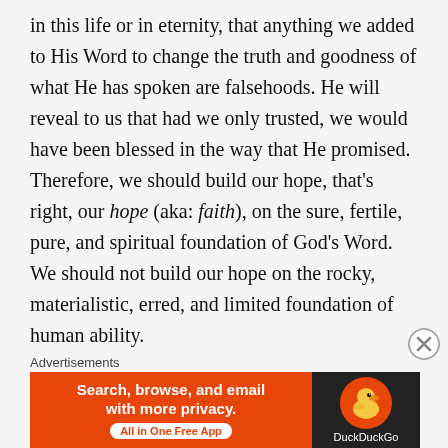in this life or in eternity, that anything we added to His Word to change the truth and goodness of what He has spoken are falsehoods. He will reveal to us that had we only trusted, we would have been blessed in the way that He promised. Therefore, we should build our hope, that's right, our hope (aka: faith), on the sure, fertile, pure, and spiritual foundation of God's Word. We should not build our hope on the rocky, materialistic, erred, and limited foundation of human ability.
I did not grow up going to church or believing in Jesus Christ as my Lord & Savior. And by the time I trusted in Christ, alone in my bedroom late on the night of February 1, 2009, I had begun attending a church that
Advertisements
[Figure (other): DuckDuckGo advertisement banner: orange left panel with text 'Search, browse, and email with more privacy. All in One Free App' and dark right panel with DuckDuckGo duck logo and brand name.]